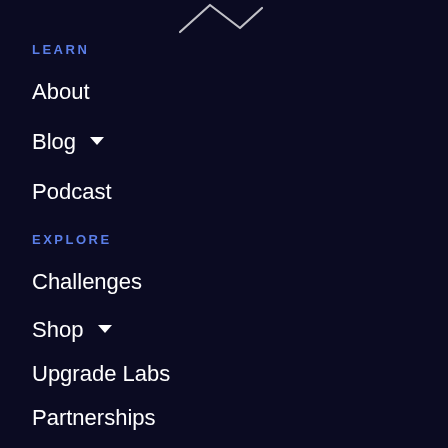[Figure (illustration): Partial handwritten or script logo at top of page, white on dark background]
LEARN
About
Blog ▾
Podcast
EXPLORE
Challenges
Shop ▾
Upgrade Labs
Partnerships
SUBSCRIBE
Want to join our Biohacking Community? Sign up for Dave's